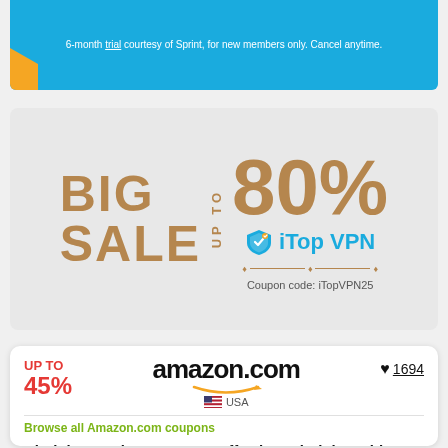6-month trial courtesy of Sprint, for new members only. Cancel anytime.
[Figure (infographic): iTop VPN Big Sale promo: BIG SALE UP TO 80% with iTop VPN shield logo and coupon code iTopVPN25]
[Figure (infographic): Amazon.com deal card: UP TO 45%, heart 1694, amazon.com USA logo, Browse all Amazon.com coupons, HitLights Deals: Up to 35% off select HitLights with 2-hour delivery for Amazon Prime USA! (Use Coupon]